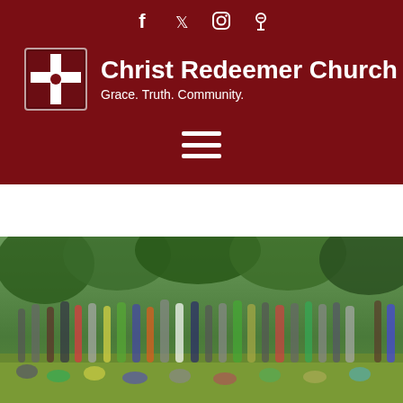[Figure (logo): Social media icons row: Facebook, Twitter, Instagram, Podcast/Pin icon in white on dark red background]
Christ Redeemer Church
Grace. Truth. Community.
[Figure (illustration): Hamburger menu icon (three white horizontal bars) centered on dark red background]
[Figure (photo): Outdoor group photo of a large number of people (children and adults) standing and sitting on a grassy field in front of a wooded area with green trees]